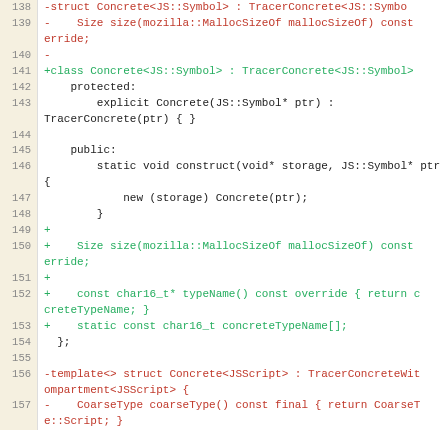[Figure (screenshot): Code diff view showing C++ source lines 138-157 with line numbers, red deleted lines and green added lines on cream/white background]